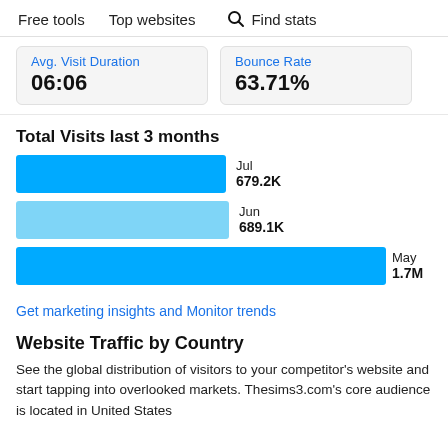Free tools   Top websites   Find stats
| Avg. Visit Duration | Bounce Rate |
| --- | --- |
| 06:06 | 63.71% |
Total Visits last 3 months
[Figure (bar-chart): Total Visits last 3 months]
Get marketing insights and Monitor trends
Website Traffic by Country
See the global distribution of visitors to your competitor's website and start tapping into overlooked markets. Thesims3.com's core audience is located in United States